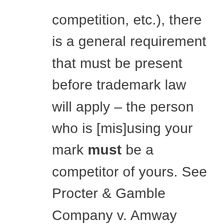competition, etc.), there is a general requirement that must be present before trademark law will apply – the person who is [mis]using your mark must be a competitor of yours. See Procter & Gamble Company v. Amway Corporation, 242 F.3d 539, 560 (5th Cir. 2001). When someone is NOT your competitor, it is generally not a violation of trademark law for them to say disparaging